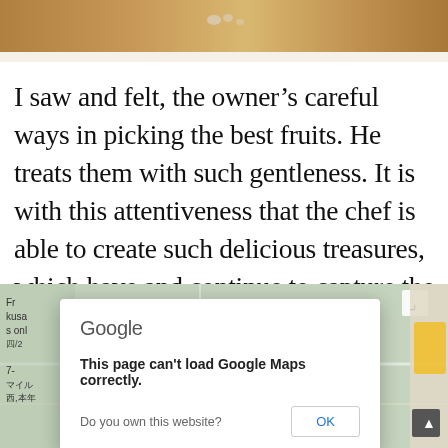[Figure (photo): Top portion of a photo showing a glass or cup on a table, partially cropped]
I saw and felt, the owner’s careful ways in picking the best fruits. He treats them with such gentleness. It is with this attentiveness that the chef is able to create such delicious treasures, which have and continue to capture the hearts of many.
[Figure (screenshot): Google Maps embedded map showing a location, with a Google error dialog overlay: 'This page can’t load Google Maps correctly. Do you own this website? OK']